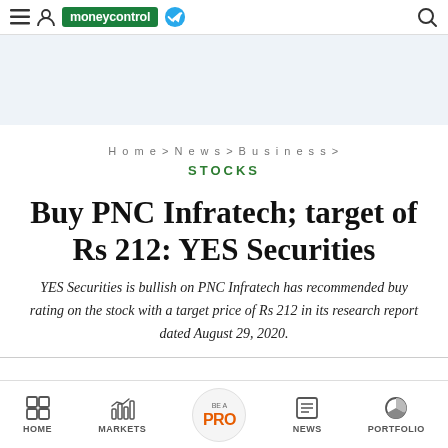moneycontrol
[Figure (other): Advertisement banner area with light blue background]
Home > News > Business >
STOCKS
Buy PNC Infratech; target of Rs 212: YES Securities
YES Securities is bullish on PNC Infratech has recommended buy rating on the stock with a target price of Rs 212 in its research report dated August 29, 2020.
HOME  MARKETS  BE A PRO  NEWS  PORTFOLIO